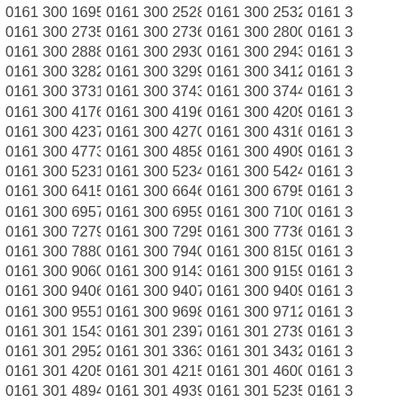Grid of phone numbers beginning with 0161 300 and 0161 301, arranged in 4 columns, 20 rows. The 4th column is partially clipped. Numbers listed row by row: 0161 300 1695, 0161 300 2528, 0161 300 2532, 0161 3...; 0161 300 2735, 0161 300 2736, 0161 300 2800, 0161 3...; 0161 300 2888, 0161 300 2930, 0161 300 2943, 0161 3...; 0161 300 3282, 0161 300 3299, 0161 300 3412, 0161 3...; 0161 300 3731, 0161 300 3743, 0161 300 3744, 0161 3...; 0161 300 4176, 0161 300 4196, 0161 300 4209, 0161 3...; 0161 300 4237, 0161 300 4270, 0161 300 4316, 0161 3...; 0161 300 4773, 0161 300 4858, 0161 300 4909, 0161 3...; 0161 300 5231, 0161 300 5234, 0161 300 5424, 0161 3...; 0161 300 6415, 0161 300 6646, 0161 300 6795, 0161 3...; 0161 300 6957, 0161 300 6959, 0161 300 7100, 0161 3...; 0161 300 7279, 0161 300 7295, 0161 300 7736, 0161 3...; 0161 300 7880, 0161 300 7940, 0161 300 8150, 0161 3...; 0161 300 9060, 0161 300 9143, 0161 300 9159, 0161 3...; 0161 300 9406, 0161 300 9407, 0161 300 9409, 0161 3...; 0161 300 9551, 0161 300 9698, 0161 300 9712, 0161 3...; 0161 301 1543, 0161 301 2397, 0161 301 2739, 0161 3...; 0161 301 2952, 0161 301 3363, 0161 301 3432, 0161 3...; 0161 301 4205, 0161 301 4215, 0161 301 4600, 0161 3...; 0161 301 4894, 0161 301 4939, 0161 301 5235, 0161 3...